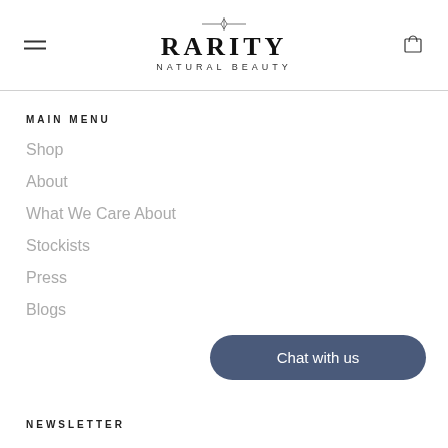RARITY NATURAL BEAUTY
MAIN MENU
Shop
About
What We Care About
Stockists
Press
Blogs
NEWSLETTER